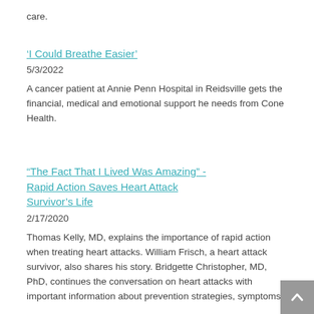care.
‘I Could Breathe Easier’
5/3/2022
A cancer patient at Annie Penn Hospital in Reidsville gets the financial, medical and emotional support he needs from Cone Health.
“The Fact That I Lived Was Amazing” - Rapid Action Saves Heart Attack Survivor’s Life
2/17/2020
Thomas Kelly, MD, explains the importance of rapid action when treating heart attacks. William Frisch, a heart attack survivor, also shares his story. Bridgette Christopher, MD, PhD, continues the conversation on heart attacks with important information about prevention strategies, symptoms